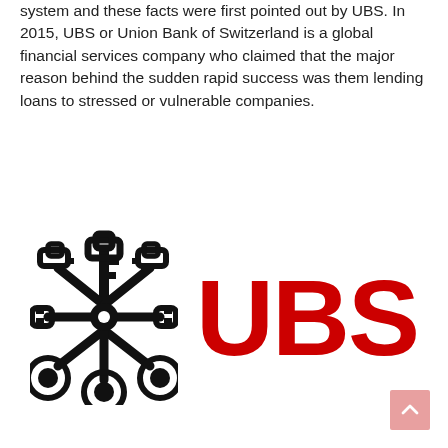system and these facts were first pointed out by UBS. In 2015, UBS or Union Bank of Switzerland is a global financial services company who claimed that the major reason behind the sudden rapid success was them lending loans to stressed or vulnerable companies.
[Figure (logo): UBS logo: black decorative keys/asterisk emblem on the left and red bold 'UBS' text on the right]